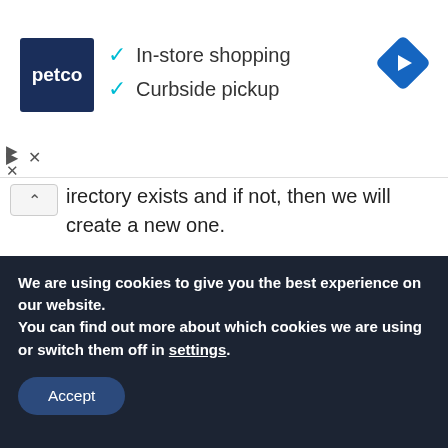[Figure (screenshot): Petco advertisement banner with logo, checkmarks for In-store shopping and Curbside pickup, and a blue navigation icon]
directory exists and if not, then we will create a new one.
[Figure (screenshot): Code block with syntax highlighting showing an if/else statement in Python/R checking if a directory exists]
We are using cookies to give you the best experience on our website.
You can find out more about which cookies we are using or switch them off in settings.